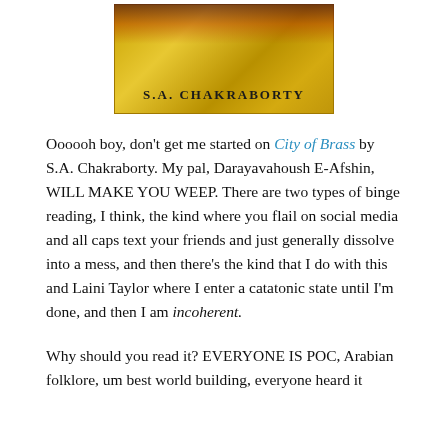[Figure (illustration): Book cover of City of Brass by S.A. Chakraborty, with a golden textured background and decorative elements at the top. Author name 'S.A. CHAKRABORTY' displayed in bold text at the bottom of the cover.]
Oooooh boy, don't get me started on City of Brass by S.A. Chakraborty. My pal, Darayavahoush E-Afshin, WILL MAKE YOU WEEP. There are two types of binge reading, I think, the kind where you flail on social media and all caps text your friends and just generally dissolve into a mess, and then there's the kind that I do with this and Laini Taylor where I enter a catatonic state until I'm done, and then I am incoherent.
Why should you read it? EVERYONE IS POC, Arabian folklore, um best world building, everyone heard it